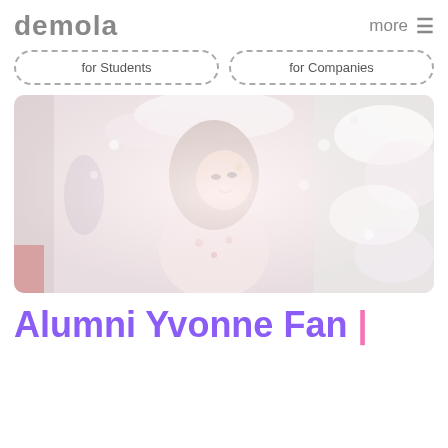DEMOLA
more ≡
for Students
for Companies
[Figure (photo): Young Asian woman with long light brown hair wearing a floral outfit, standing among white cherry blossom flowers, smiling over her shoulder.]
Alumni Yvonne Fan |